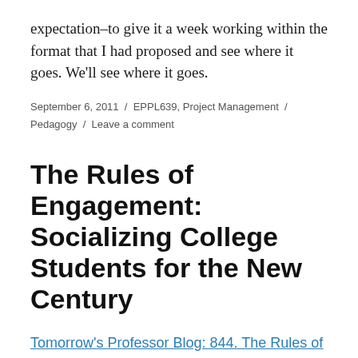expectation–to give it a week working within the format that I had proposed and see where it goes. We'll see where it goes.
September 6, 2011 / EPPL639, Project Management / Pedagogy / Leave a comment
The Rules of Engagement: Socializing College Students for the New Century
Tomorrow's Professor Blog: 844. The Rules of Engagement: Socializing College Students for the New Century